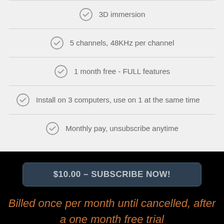3D immersion
5 channels, 48KHz per channel
1 month free - FULL features
Install on 3 computers, use on 1 at the same time
Monthly pay, unsubscribe anytime
$10.00 – SUBSCRIBE NOW!
Billed once per month until cancelled, after a one month free trial